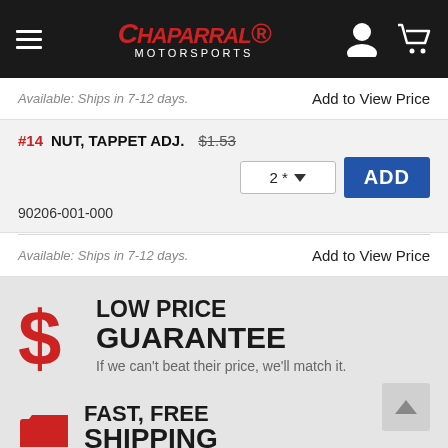[Figure (screenshot): Chaparral Motorsports website header with hamburger menu, logo, user icon, and cart icon on black background]
Available: Ships in 7-12 days.
Add to View Price
#14 NUT, TAPPET ADJ. $1.53
90206-001-000
Available: Ships in 7-12 days.
Add to View Price
LOW PRICE
GUARANTEE
If we can't beat their price, we'll match it.
FAST, FREE
SHIPPING